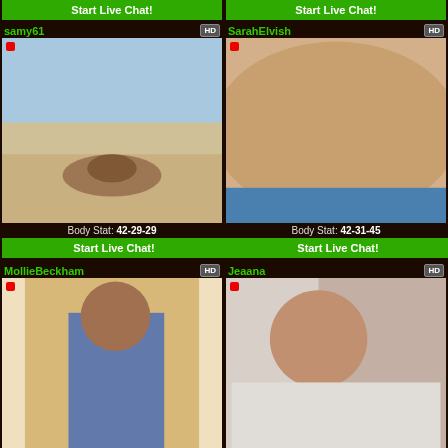Start Live Chat! (top left, partial)
Start Live Chat! (top right, partial)
samy61
[Figure (photo): Person lying in shallow water on a rocky beach]
Body Stat: 42-29-29
Start Live Chat!
SarahElvish
[Figure (photo): Close-up photo from behind]
Body Stat: 42-31-45
Start Live Chat!
MollieBeckham
[Figure (photo): Person in blue lingerie posing in an elevator]
Jeaana
[Figure (photo): Asian woman in white dress seated on a sofa]